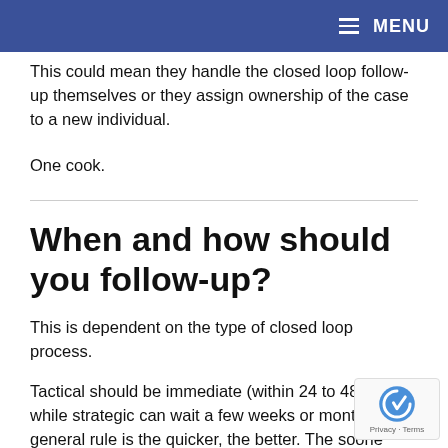≡ MENU
This could mean they handle the closed loop follow-up themselves or they assign ownership of the case to a new individual.
One cook.
When and how should you follow-up?
This is dependent on the type of closed loop process.
Tactical should be immediate (within 24 to 48 hours) while strategic can wait a few weeks or months. The general rule is the quicker, the better. The sooner a customer can see you are taking action on his or her